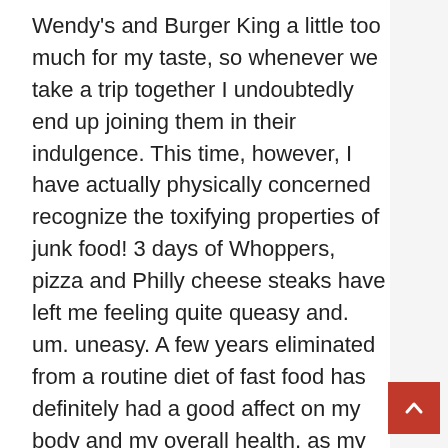Wendy's and Burger King a little too much for my taste, so whenever we take a trip together I undoubtedly end up joining them in their indulgence. This time, however, I have actually physically concerned recognize the toxifying properties of junk food! 3 days of Whoppers, pizza and Philly cheese steaks have left me feeling quite queasy and. um. uneasy. A few years eliminated from a routine diet of fast food has definitely had a good affect on my body and my overall health, as my physical response plainly testifies.
So do I really believe these e-smokes are as fantastic as they state? No. Not all of them. Lots of people I spoke to prior to my first purchase were really dissatisfied with the e-